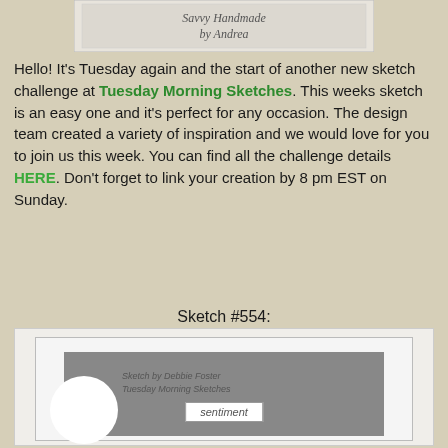[Figure (illustration): Header image showing 'Savvy Handmade by Andrea' banner/logo at the top of the page]
Hello! It's Tuesday again and the start of another new sketch challenge at Tuesday Morning Sketches. This weeks sketch is an easy one and it's perfect for any occasion. The design team created a variety of inspiration and we would love for you to join us this week. You can find all the challenge details HERE. Don't forget to link your creation by 8 pm EST on Sunday.
Sketch #554:
[Figure (illustration): Sketch #554 diagram showing a card layout with a gray background rectangle, a white circle on the left side, and a 'sentiment' label box in the lower center. Credits read: Sketch by Debbie Foster, Tuesday Morning Sketches.]